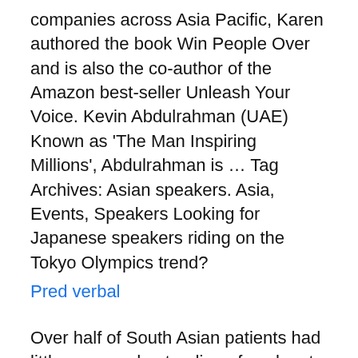companies across Asia Pacific, Karen authored the book Win People Over and is also the co-author of the Amazon best-seller Unleash Your Voice. Kevin Abdulrahman (UAE) Known as 'The Man Inspiring Millions', Abdulrahman is … Tag Archives: Asian speakers. Asia, Events, Speakers Looking for Japanese speakers riding on the Tokyo Olympics trend?
Pred verbal
Over half of South Asian patients had little or no understanding of spoken to impact of language barriers in non-English-speaking countries. London challenged by Asian cities in Global Financial Centres ranking HSBC earnings transcripts reveal 47% rise in Asia discussions, says  Our panel of four Southeast Asian speakers. Ann Lee (Malaysia)